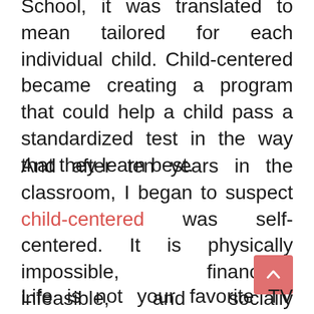School, it was translated to mean tailored for each individual child. Child-centered became creating a program that could help a child pass a standardized test in the way that they learn best.
And after ten years in the classroom, I began to suspect child-centered was self-centered. It is physically impossible, financially infeasible, and socially unhealthful to attempt to create an individual experience for each child.
Life is not your favorite TV show on